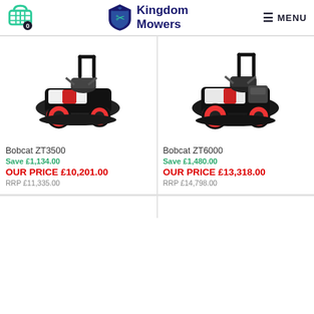Kingdom Mowers — Cart: 0 — MENU
[Figure (photo): Bobcat ZT3500 zero-turn riding mower, black and white with red wheels, viewed from front-right angle]
Bobcat ZT3500
Save £1,134.00
OUR PRICE £10,201.00
RRP £11,335.00
[Figure (photo): Bobcat ZT6000 zero-turn riding mower, black and white with red wheels, viewed from front-right angle]
Bobcat ZT6000
Save £1,480.00
OUR PRICE £13,318.00
RRP £14,798.00